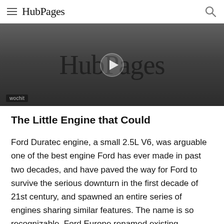HubPages
[Figure (screenshot): Video thumbnail showing HubPages logo text on dark gray background with a play button icon and wochit watermark in the bottom left corner.]
The Little Engine that Could
Ford Duratec engine, a small 2.5L V6, was arguable one of the best engine Ford has ever made in past two decades, and have paved the way for Ford to survive the serious downturn in the first decade of 21st century, and spawned an entire series of engines sharing similar features. The name is so recognizable, Ford Europe renamed existing